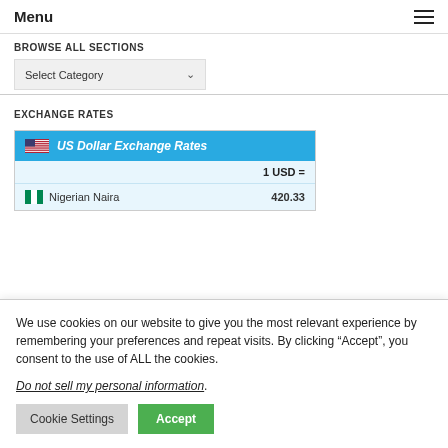Menu
BROWSE ALL SECTIONS
Select Category
EXCHANGE RATES
| Currency | 1 USD = |
| --- | --- |
| Nigerian Naira | 420.33 |
We use cookies on our website to give you the most relevant experience by remembering your preferences and repeat visits. By clicking “Accept”, you consent to the use of ALL the cookies.
Do not sell my personal information.
Cookie Settings
Accept